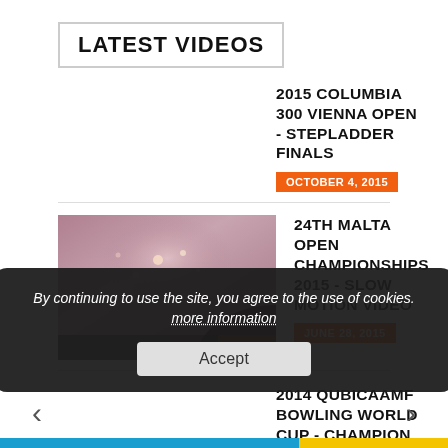LATEST VIDEOS
2015 COLUMBIA 300 VIENNA OPEN - STEPLADDER FINALS
OCTOBER 4, 2015
[Figure (photo): Blurry/abstract photo thumbnail for 24th Malta Open Championships video]
24TH MALTA OPEN CHAMPIONSHIPS 2015 - SLOW MOTION VIDEO
JUNE 28, 2015
2014 QUBICAAMF BOWLING WORLD CUP - CHAMPION CHRIS BARNES
NOVEMBER 16, 2014
By continuing to use the site, you agree to the use of cookies. more information
Accept